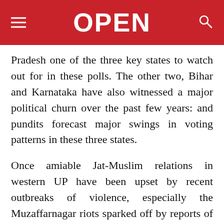OPEN
Pradesh one of the three key states to watch out for in these polls. The other two, Bihar and Karnataka have also witnessed a major political churn over the past few years: and pundits forecast major swings in voting patterns in these three states.
Once amiable Jat-Muslim relations in western UP have been upset by recent outbreaks of violence, especially the Muzaffarnagar riots sparked off by reports of Muslim youths harassing a Dalit girl. Soon, Jats joined hands with Dalits, resulting in a conflagration that claimed at least 43 lives last